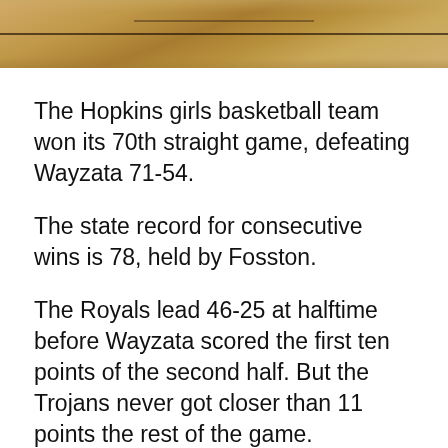[Figure (photo): Partial view of a basketball court floor with wood grain texture and court markings visible]
The Hopkins girls basketball team won its 70th straight game, defeating Wayzata 71-54.
The state record for consecutive wins is 78, held by Fosston.
The Royals lead 46-25 at halftime before Wayzata scored the first ten points of the second half. But the Trojans never got closer than 11 points the rest of the game.
Amaya Battle scored 19 points, Taylor Woodson 17 and Maya Nnaji 16 to pace the Royals.
Mara Braun scored 19 points to lead Wayzata in